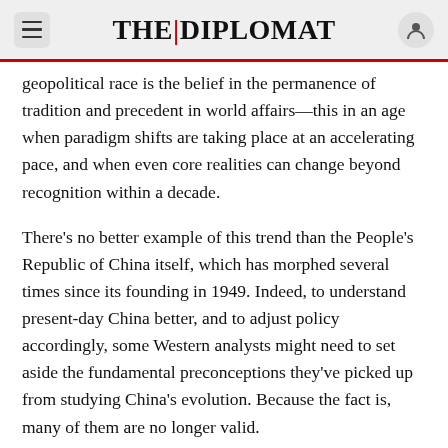THE | DIPLOMAT
geopolitical race is the belief in the permanence of tradition and precedent in world affairs—this in an age when paradigm shifts are taking place at an accelerating pace, and when even core realities can change beyond recognition within a decade.
There's no better example of this trend than the People's Republic of China itself, which has morphed several times since its founding in 1949. Indeed, to understand present-day China better, and to adjust policy accordingly, some Western analysts might need to set aside the fundamental preconceptions they've picked up from studying China's evolution. Because the fact is, many of them are no longer valid.
Broadly speaking, each decade since 1949 has seen changes in the form and scope of government...